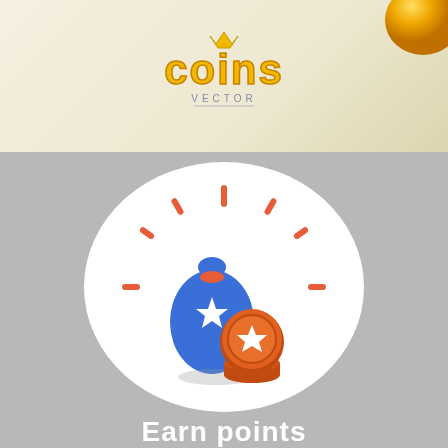[Figure (illustration): Top banner with cream/gold gradient background, stylized 'coins' text in gold with a crown above, 'VECTOR' subtitle below, and a gold shiny coin partially visible at top right]
[Figure (illustration): Gray background section with a large white circle containing a blue money bag with a white star, radiating orange dash lines around it, and an orange coin/medal with a star in front. Below the circle: 'Earn points' text in white bold letters.]